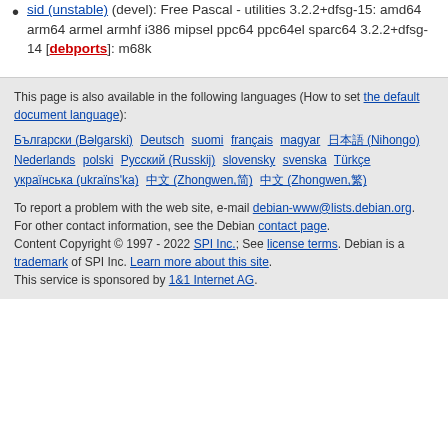sid (unstable) (devel): Free Pascal - utilities 3.2.2+dfsg-15: amd64 arm64 armel armhf i386 mipsel ppc64 ppc64el sparc64 3.2.2+dfsg-14 [debports]: m68k
This page is also available in the following languages (How to set the default document language):
Български (Bəlgarski) Deutsch suomi français magyar 日本語 (Nihongo) Nederlands polski Русский (Russkij) slovensky svenska Türkçe українська (ukraїns'ka) 中文 (Zhongwen,简) 中文 (Zhongwen,繁)
To report a problem with the web site, e-mail debian-www@lists.debian.org. For other contact information, see the Debian contact page.
Content Copyright © 1997 - 2022 SPI Inc.; See license terms. Debian is a trademark of SPI Inc. Learn more about this site.
This service is sponsored by 1&1 Internet AG.